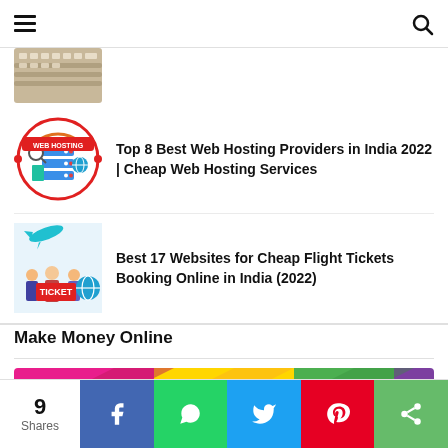Navigation bar with hamburger menu and search icon
[Figure (photo): Partial thumbnail of keyboard image at top]
[Figure (illustration): Web Hosting circular logo with server, devices, and red border]
Top 8 Best Web Hosting Providers in India 2022 | Cheap Web Hosting Services
[Figure (illustration): Flight ticket booking illustration with airplane, people holding TICKET sign, and globe]
Best 17 Websites for Cheap Flight Tickets Booking Online in India (2022)
Make Money Online
[Figure (illustration): Colorful banner for Make Money Online section with pink, yellow, green, and purple diagonal shapes]
9 Shares | Facebook | WhatsApp | Twitter | Pinterest | Share